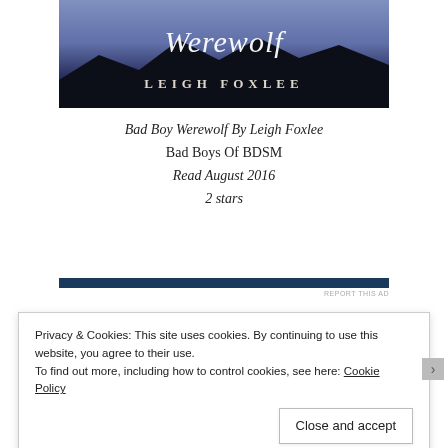[Figure (illustration): Book cover for 'Bad Boy Werewolf' by Leigh Foxlee, showing stylized script title 'Werewolf' and author name 'LEIGH FOXLEE' in caps, against a dark purple/blue twilight sky with silhouetted mountains]
Bad Boy Werewolf By Leigh Foxlee
Bad Boys Of BDSM
Read August 2016
2 stars
[Figure (other): Dark navy horizontal advertisement bar with 'REPORT THIS AD' label in small grey text]
Privacy & Cookies: This site uses cookies. By continuing to use this website, you agree to their use.
To find out more, including how to control cookies, see here: Cookie Policy
Close and accept